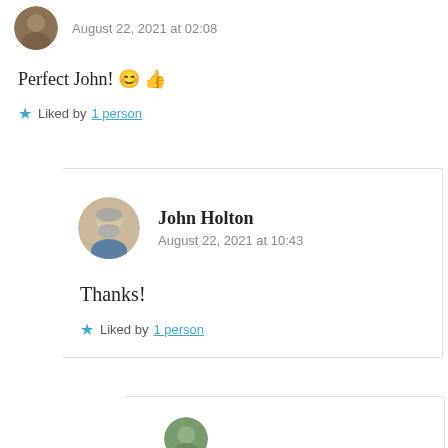August 22, 2021 at 02:08
Perfect John! 😊 👍
★ Liked by 1 person
John Holton
August 22, 2021 at 10:43
Thanks!
★ Liked by 1 person